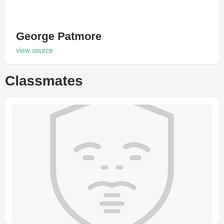George Patmore
view source
Classmates
[Figure (illustration): Placeholder avatar icon — a stylized face with shield/badge outline in light gray, representing a user profile photo placeholder]